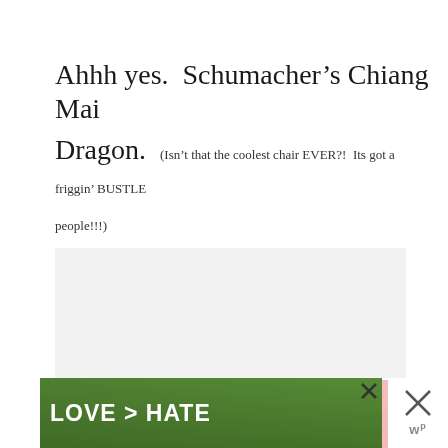Ahhh yes.  Schumacher's Chiang Mai Dragon.  (Isn't that the coolest chair EVER?!  Its got a friggin' BUSTLE people!!!)
[Figure (other): Gray/white empty advertisement placeholder area]
[Figure (other): Pink advertisement banner with person in yellow shirt and text 'Actions speak louder than words.']
[Figure (other): Green/outdoor advertisement banner with hands forming heart shape and text 'LOVE > HATE']